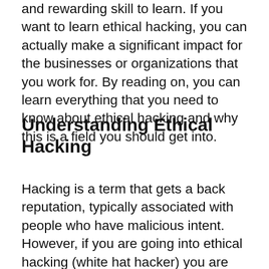and rewarding skill to learn. If you want to learn ethical hacking, you can actually make a significant impact for the businesses or organizations that you work for. By reading on, you can learn everything that you need to know about ethical hacking and why this is a field you should get into.
Understanding Ethical Hacking
Hacking is a term that gets a back reputation, typically associated with people who have malicious intent. However, if you are going into ethical hacking (white hat hacker) you are using these hacking skills to help the authorities as well as reporting any significant vulnerabilities in a system. There